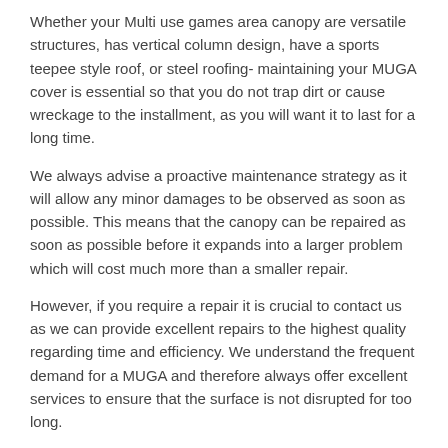Whether your Multi use games area canopy are versatile structures, has vertical column design, have a sports teepee style roof, or steel roofing- maintaining your MUGA cover is essential so that you do not trap dirt or cause wreckage to the installment, as you will want it to last for a long time.
We always advise a proactive maintenance strategy as it will allow any minor damages to be observed as soon as possible. This means that the canopy can be repaired as soon as possible before it expands into a larger problem which will cost much more than a smaller repair.
However, if you require a repair it is crucial to contact us as we can provide excellent repairs to the highest quality regarding time and efficiency. We understand the frequent demand for a MUGA and therefore always offer excellent services to ensure that the surface is not disrupted for too long.
Other School Shelters We Offer
Parent Waiting Shelters in Berth-ddu - https://www.canopies-shelters.co.uk/schools/parent-waiting/flintshire/berth-ddu/